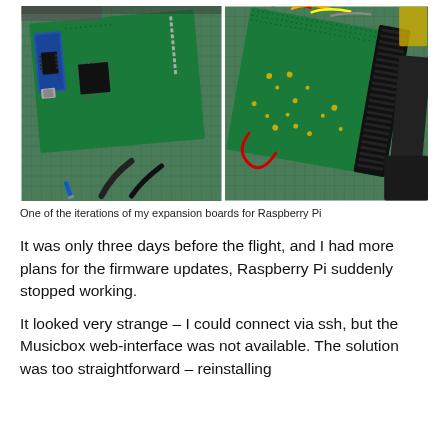[Figure (photo): Two photos side by side of green prototype/expansion circuit boards (perfboards) with components soldered on, placed on a green cutting mat. Left photo shows a board with an Arduino/microcontroller and IC chips. Right photo shows the reverse side or another iteration of the board with a black connector strip and colored wires.]
One of the iterations of my expansion boards for Raspberry Pi
It was only three days before the flight, and I had more plans for the firmware updates, Raspberry Pi suddenly stopped working.
It looked very strange – I could connect via ssh, but the Musicbox web-interface was not available. The solution was too straightforward – reinstalling